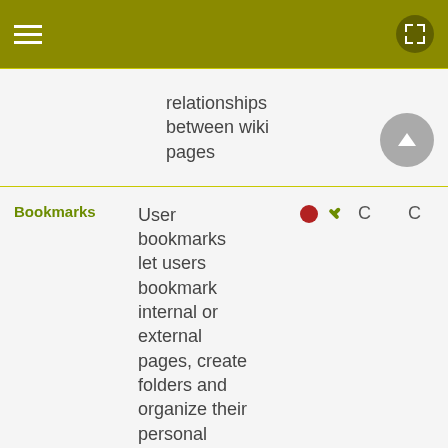[Figure (screenshot): Mobile app top navigation bar with hamburger menu icon on the left and expand/fullscreen icon on the right, olive/dark yellow background]
Relationships between wiki pages
| Feature | Description | Status | C | C |
| --- | --- | --- | --- | --- |
| Bookmarks | User bookmarks let users bookmark internal or external pages, create folders and organize their personal bookmarks in folders. Bookmarks can be shared... | ● 🔧 | C | C |